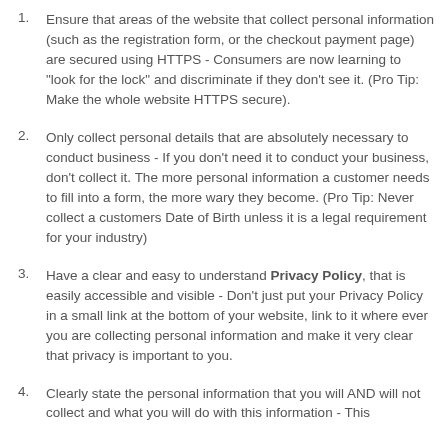Ensure that areas of the website that collect personal information (such as the registration form, or the checkout payment page) are secured using HTTPS - Consumers are now learning to "look for the lock" and discriminate if they don't see it. (Pro Tip: Make the whole website HTTPS secure).
Only collect personal details that are absolutely necessary to conduct business - If you don't need it to conduct your business, don't collect it. The more personal information a customer needs to fill into a form, the more wary they become. (Pro Tip: Never collect a customers Date of Birth unless it is a legal requirement for your industry)
Have a clear and easy to understand Privacy Policy, that is easily accessible and visible - Don't just put your Privacy Policy in a small link at the bottom of your website, link to it where ever you are collecting personal information and make it very clear that privacy is important to you.
Clearly state the personal information that you will AND will not collect and what you will do with this information - This